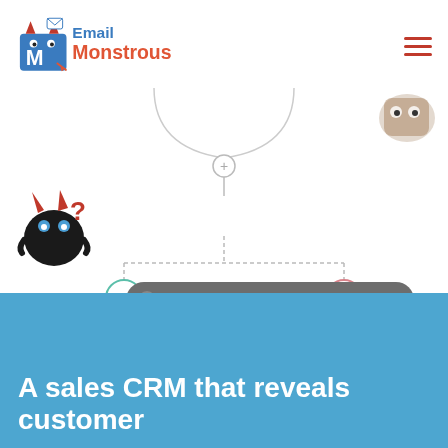[Figure (logo): Email Monstrous logo with monster character and text]
[Figure (flowchart): Email automation flowchart showing a condition node 'Does the contact meet the following (Total Orders > 1)' with YES branch leading to 'Enter automation Repeat customer nurture' and NO branch leading to 'Send email Time sensitive discount']
A sales CRM that reveals customer